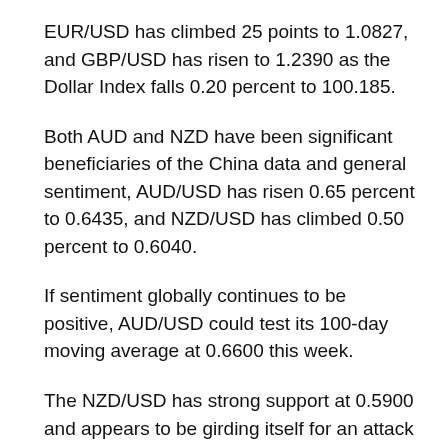EUR/USD has climbed 25 points to 1.0827, and GBP/USD has risen to 1.2390 as the Dollar Index falls 0.20 percent to 100.185.
Both AUD and NZD have been significant beneficiaries of the China data and general sentiment, AUD/USD has risen 0.65 percent to 0.6435, and NZD/USD has climbed 0.50 percent to 0.6040.
If sentiment globally continues to be positive, AUD/USD could test its 100-day moving average at 0.6600 this week.
The NZD/USD has strong support at 0.5900 and appears to be girding itself for an attack on the 0.6100 regions.
The MYR rallied strongly towards the end of last week on global recovery hopes. USD/MYR finished at 4.3550 on